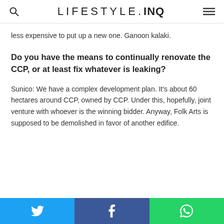LIFESTYLE.INQ
less expensive to put up a new one. Ganoon kalaki.
Do you have the means to continually renovate the CCP, or at least fix whatever is leaking?
Sunico: We have a complex development plan. It’s about 60 hectares around CCP, owned by CCP. Under this, hopefully, joint venture with whoever is the winning bidder. Anyway, Folk Arts is supposed to be demolished in favor of another edifice.
Twitter | Facebook | WhatsApp